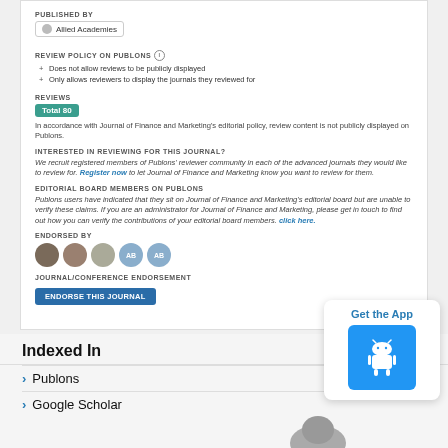PUBLISHED BY
Allied Academies
REVIEW POLICY ON PUBLONS
Does not allow reviews to be publicly displayed
Only allows reviewers to display the journals they reviewed for
REVIEWS
Total 80
In accordance with Journal of Finance and Marketing's editorial policy, review content is not publicly displayed on Publons.
INTERESTED IN REVIEWING FOR THIS JOURNAL?
We recruit registered members of Publons' reviewer community in each of the advanced journals they would like to review for. Register now to let Journal of Finance and Marketing know you want to review for them.
EDITORIAL BOARD MEMBERS ON PUBLONS
Publons users have indicated that they sit on Journal of Finance and Marketing's editorial board but are unable to verify these claims. If you are an administrator for Journal of Finance and Marketing, please get in touch to find out how you can verify the contributions of your editorial board members. click here.
ENDORSED BY
JOURNAL/CONFERENCE ENDORSEMENT
ENDORSE THIS JOURNAL
Indexed In
Publons
Google Scholar
[Figure (infographic): Get the App box with Android icon]